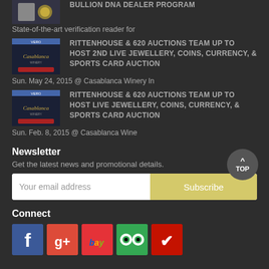[Figure (photo): Partial thumbnail image at top, partially cropped - gold coin/bullion product]
BULLION DNA DEALER PROGRAM
State-of-the-art verification reader for
[Figure (photo): Casablanca Winery product image thumbnail]
RITTENHOUSE & 620 AUCTIONS TEAM UP TO HOST 2ND LIVE JEWELLERY, COINS, CURRENCY, & SPORTS CARD AUCTION
Sun. May 24, 2015 @ Casablanca Winery In
[Figure (photo): Casablanca Winery product image thumbnail]
RITTENHOUSE & 620 AUCTIONS TEAM UP TO HOST LIVE JEWELLERY, COINS, CURRENCY, & SPORTS CARD AUCTION
Sun. Feb. 8, 2015 @ Casablanca Wine
Newsletter
Get the latest news and promotional details.
Your email address
Subscribe
Connect
[Figure (logo): Social media icons: Facebook, Google+, eBay, TripAdvisor, Yelp]